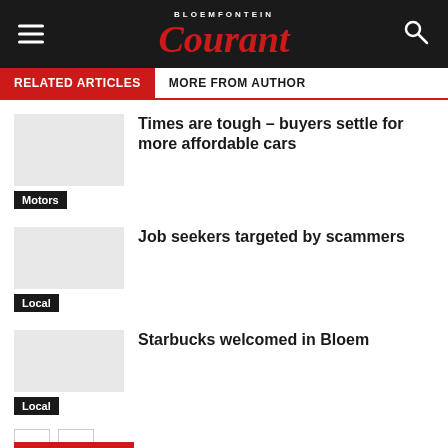Bloemfontein Courant
RELATED ARTICLES
MORE FROM AUTHOR
Times are tough – buyers settle for more affordable cars
Motors
Job seekers targeted by scammers
Local
Starbucks welcomed in Bloem
Local